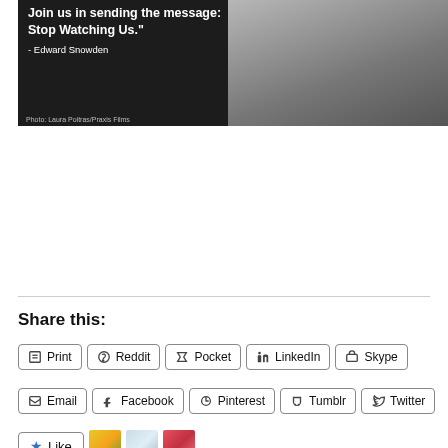[Figure (photo): Photo of Edward Snowden with quote overlay: 'Join us in sending the message: Stop Watching Us.' - Edward Snowden. Photo credit: Laura Poitras/Praxis Films]
Share this:
Print | Reddit | Pocket | LinkedIn | Skype | Email | Facebook | Pinterest | Tumblr | Twitter
Like